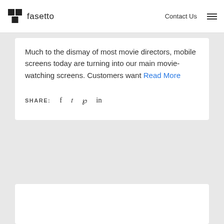fasetto   Contact Us
Much to the dismay of most movie directors, mobile screens today are turning into our main movie-watching screens. Customers want Read More
SHARE: f  t  p  in